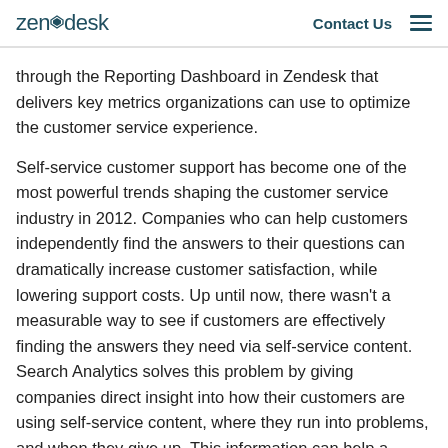zendesk | Contact Us
through the Reporting Dashboard in Zendesk that delivers key metrics organizations can use to optimize the customer service experience.
Self-service customer support has become one of the most powerful trends shaping the customer service industry in 2012. Companies who can help customers independently find the answers to their questions can dramatically increase customer satisfaction, while lowering support costs. Up until now, there wasn’t a measurable way to see if customers are effectively finding the answers they need via self-service content. Search Analytics solves this problem by giving companies direct insight into how their customers are using self-service content, where they run into problems, and when they give up. This information can help a company optimize its self-service content.